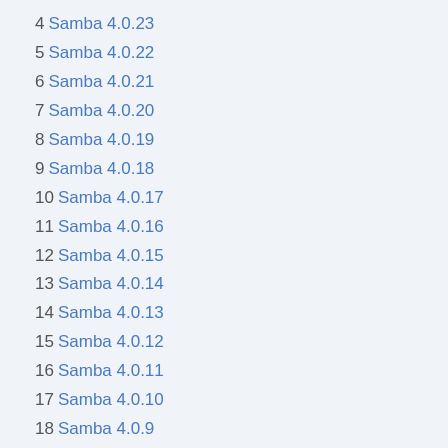4 Samba 4.0.23
5 Samba 4.0.22
6 Samba 4.0.21
7 Samba 4.0.20
8 Samba 4.0.19
9 Samba 4.0.18
10 Samba 4.0.17
11 Samba 4.0.16
12 Samba 4.0.15
13 Samba 4.0.14
14 Samba 4.0.13
15 Samba 4.0.12
16 Samba 4.0.11
17 Samba 4.0.10
18 Samba 4.0.9
19 Samba 4.0.8
20 Samba 4.0.7
21 Samba 4.0.6
22 Samba 4.0.5
23 Samba 4.0.4